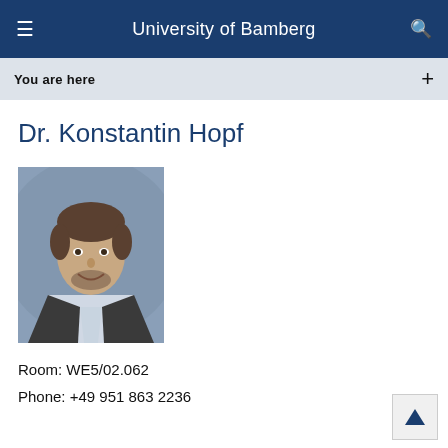University of Bamberg
You are here  +
Dr. Konstantin Hopf
[Figure (photo): Professional headshot of Dr. Konstantin Hopf, a young man with short brown hair wearing a dark suit jacket and light blue shirt, smiling, against a grey background]
Room: WE5/02.062
Phone: +49 951 863 2236